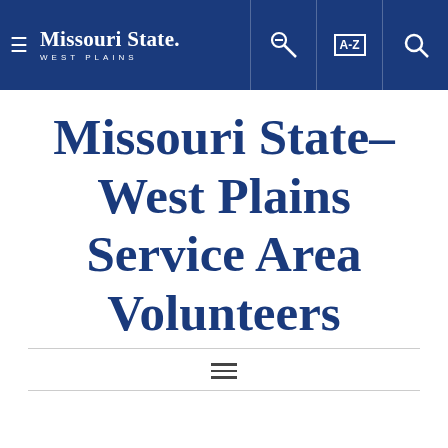Missouri State West Plains — navigation header with hamburger menu, logo, key icon, A-Z index, and search icon
Missouri State–West Plains Service Area Volunteers